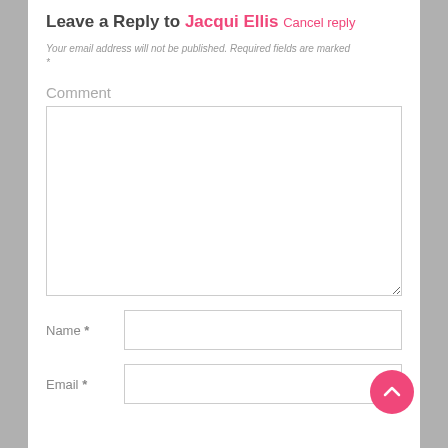Leave a Reply to Jacqui Ellis Cancel reply
Your email address will not be published. Required fields are marked *
Comment
Name *
Email *